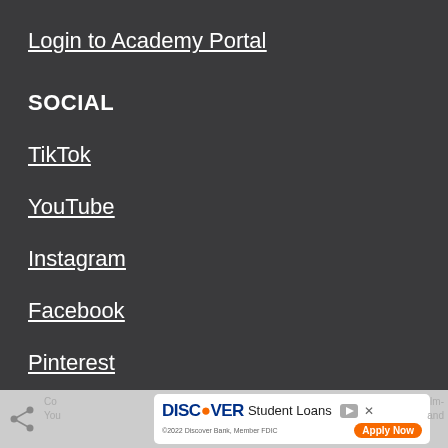Login to Academy Portal
SOCIAL
TikTok
YouTube
Instagram
Facebook
Pinterest
Discover Student Loans – Apply Now – ©2022 Discover Bank, Member FDIC